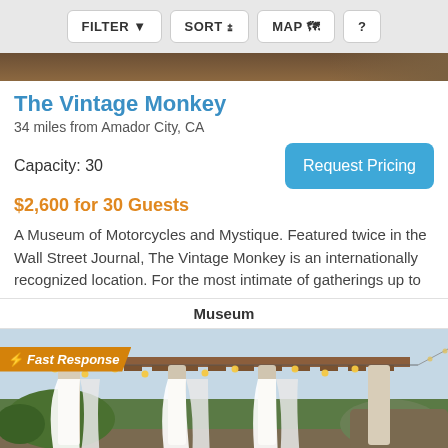FILTER  SORT  MAP  ?
[Figure (photo): Hero image strip showing warm brown/amber tones of a venue]
The Vintage Monkey
34 miles from Amador City, CA
Capacity: 30
Request Pricing
$2,600 for 30 Guests
A Museum of Motorcycles and Mystique. Featured twice in the Wall Street Journal, The Vintage Monkey is an internationally recognized location. For the most intimate of gatherings up to
Museum
[Figure (photo): Outdoor pergola venue photo with string lights, white drape curtains, columns, and lush greenery. Fast Response badge in upper left corner.]